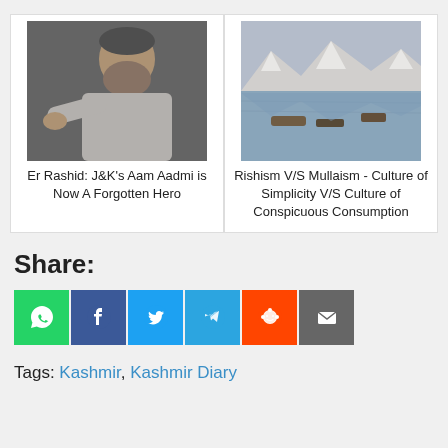[Figure (photo): Photo of Er Rashid pointing forward, grey background]
Er Rashid: J&K's Aam Aadmi is Now A Forgotten Hero
[Figure (photo): Landscape photo of Kashmir lake with boats and snow-capped mountains]
Rishism V/S Mullaism - Culture of Simplicity V/S Culture of Conspicuous Consumption
Share:
[Figure (infographic): Social share buttons: WhatsApp, Facebook, Twitter, Telegram, Reddit, Email]
Tags: Kashmir, Kashmir Diary